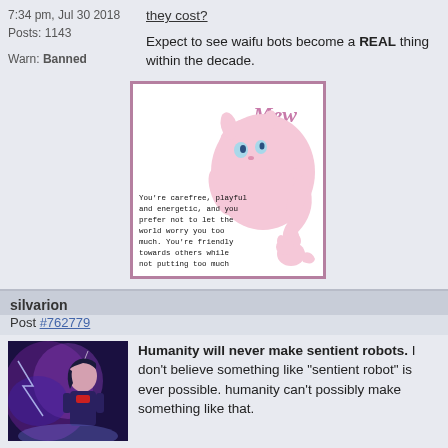7:34 pm, Jul 30 2018
Posts: 1143
Warn: Banned
they cost? Expect to see waifu bots become a REAL thing within the decade.
[Figure (illustration): Mew (Pokemon) illustration with text: You're carefree, playful and energetic, and you prefer not to let the world worry you too much. You're friendly towards others while not putting too much trust or emotional investment into the relationship.]
silvarion
Post #762779
[Figure (illustration): Anime avatar with purple effects]
Humanity will never make sentient robots. I don't believe something like "sentient robot" is ever possible. humanity can't possibly make something like that.